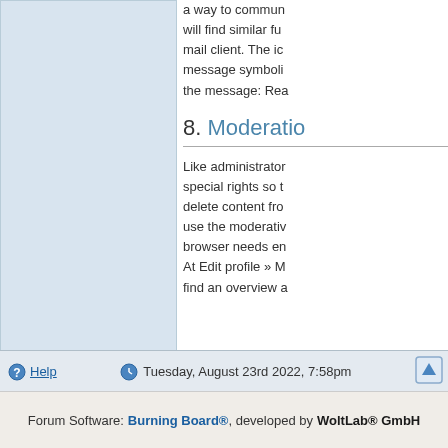[Figure (other): Light blue rectangular panel on the left side of the page]
a way to commun... will find similar fu... mail client. The ic... message symboli... the message: Rea...
8. Moderatio...
Like administrator... special rights so t... delete content fro... use the moderativ... browser needs en... At Edit profile » M... find an overview a...
Help   Tuesday, August 23rd 2022, 7:58pm
Forum Software: Burning Board®, developed by WoltLab® GmbH